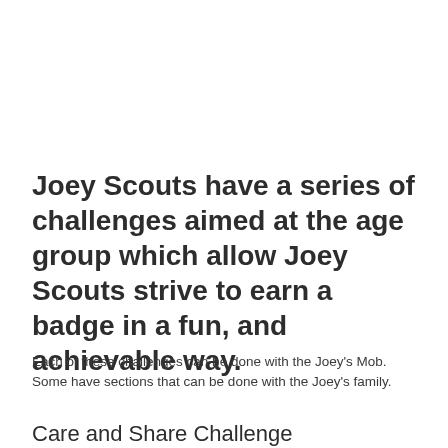Joey Scouts have a series of challenges aimed at the age group which allow Joey Scouts strive to earn a badge in a fun, and achievable way.
Each of these challenges can be done with the Joey's Mob. Some have sections that can be done with the Joey's family.
Care and Share Challenge